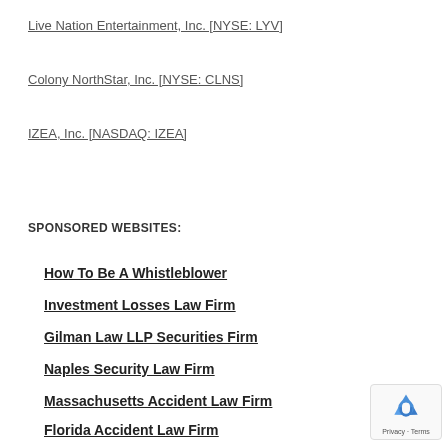Live Nation Entertainment, Inc. [NYSE: LYV]
Colony NorthStar, Inc. [NYSE: CLNS]
IZEA, Inc. [NASDAQ: IZEA]
SPONSORED WEBSITES:
How To Be A Whistleblower
Investment Losses Law Firm
Gilman Law LLP Securities Firm
Naples Security Law Firm
Massachusetts Accident Law Firm
Florida Accident Law Firm
[Figure (logo): reCAPTCHA privacy badge with recycling-style arrows logo, 'Privacy - Terms' text]